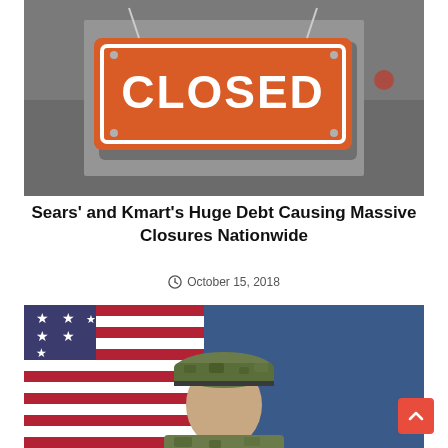[Figure (photo): An orange rectangular 'CLOSED' sign hanging in a blurred storefront window. The sign has white bold text reading 'CLOSED' and is suspended by two metal chains.]
Sears' and Kmart's Huge Debt Causing Massive Closures Nationwide
October 15, 2018
[Figure (photo): A person in military camouflage uniform and cap, partially visible from the shoulders up, posed in front of an American flag with a blue background.]